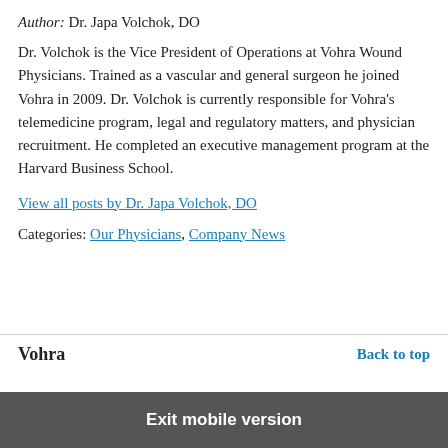Author: Dr. Japa Volchok, DO
Dr. Volchok is the Vice President of Operations at Vohra Wound Physicians. Trained as a vascular and general surgeon he joined Vohra in 2009. Dr. Volchok is currently responsible for Vohra’s telemedicine program, legal and regulatory matters, and physician recruitment. He completed an executive management program at the Harvard Business School.
View all posts by Dr. Japa Volchok, DO
Categories: Our Physicians, Company News
Vohra
Back to top
Exit mobile version